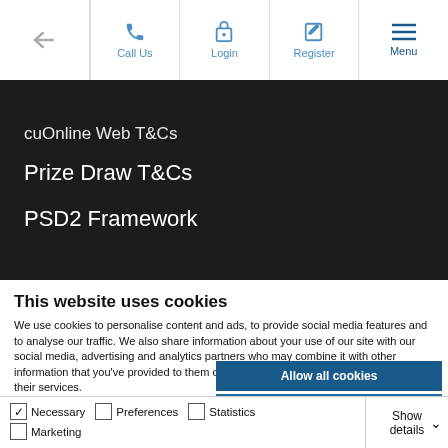← | Call Us | Login | Register | Menu
cuOnline Web T&Cs
Prize Draw T&Cs
PSD2 Framework
This website uses cookies
We use cookies to personalise content and ads, to provide social media features and to analyse our traffic. We also share information about your use of our site with our social media, advertising and analytics partners who may combine it with other information that you've provided to them or that they've collected from your use of their services.
Allow all cookies
Allow selection
Use necessary cookies only
✓ Necessary   ☐ Preferences   ☐ Statistics   ☐ Marketing   Show details ∨